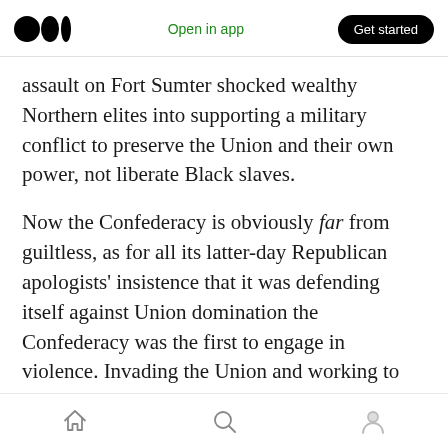Medium logo | Open in app | Get started
assault on Fort Sumter shocked wealthy Northern elites into supporting a military conflict to preserve the Union and their own power, not liberate Black slaves.
Now the Confederacy is obviously far from guiltless, as for all its latter-day Republican apologists' insistence that it was defending itself against Union domination the Confederacy was the first to engage in violence. Invading the Union and working to install friendly governments in border states were also fairly egregious acts of war
Home | Search | Profile